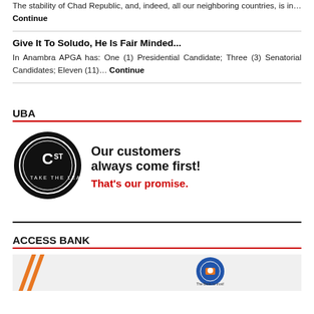The stability of Chad Republic, and, indeed, all our neighboring countries, is in... Continue
Give It To Soludo, He Is Fair Minded...
In Anambra APGA has: One (1) Presidential Candidate; Three (3) Senatorial Candidates; Eleven (11)... Continue
UBA
[Figure (illustration): UBA advertisement banner: C1st 'Take The Lead' logo on black circular badge on left; text 'Our customers always come first!' in bold black and 'That's our promise.' in bold red on right.]
ACCESS BANK
[Figure (illustration): Access Bank advertisement banner with orange diagonal lines on left and Access Africa logo on right on light grey background.]